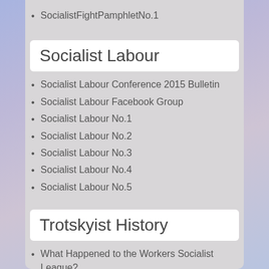SocialistFightPamphletNo.1
Socialist Labour
Socialist Labour Conference 2015 Bulletin
Socialist Labour Facebook Group
Socialist Labour No.1
Socialist Labour No.2
Socialist Labour No.3
Socialist Labour No.4
Socialist Labour No.5
Trotskyist History
What Happened to the Workers Socialist League?